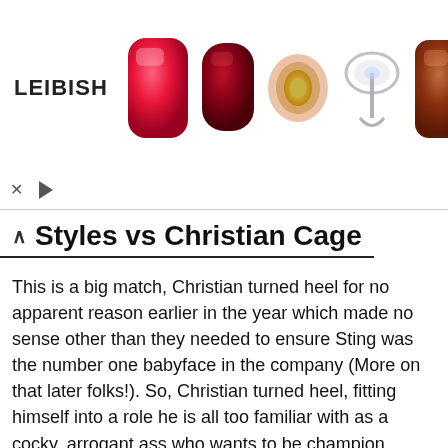[Figure (photo): LEIBISH jewelry advertisement banner showing a logo and five gemstone/ring images: a large cushion-cut pink-red stone, a cushion-cut dark red stone, an oval floral halo setting with yellow center stone, a diamond ring, and a cushion-cut brownish-red stone. Ad controls (X and play button) appear below.]
Styles vs Christian Cage
This is a big match, Christian turned heel for no apparent reason earlier in the year which made no sense other than they needed to ensure Sting was the number one babyface in the company (More on that later folks!). So, Christian turned heel, fitting himself into a role he is all too familiar with as a cocky, arrogant ass who wants to be champion. Standing across from Christian is Mr. TNA AJ Styles, this will be fun plain and simple. Styles is in there with a huge star and Styles always rises to the occasion.